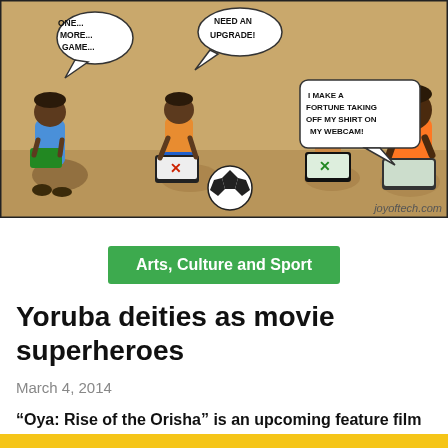[Figure (illustration): Comic strip showing children sitting on the ground with devices. Speech bubbles say 'ONE... MORE... GAME...', 'NEED AN UPGRADE!', 'I MAKE A FORTUNE TAKING OFF MY SHIRT ON MY WEBCAM!' with a soccer ball visible. Attribution: joyoftech.com]
Arts, Culture and Sport
Yoruba deities as movie superheroes
March 4, 2014
“Oya: Rise of the Orisha” is an upcoming feature film that blends the Western superhero genre with Yoruba mythology. The film garnered internet attention following their Indiegogo crowd-funding campaign.